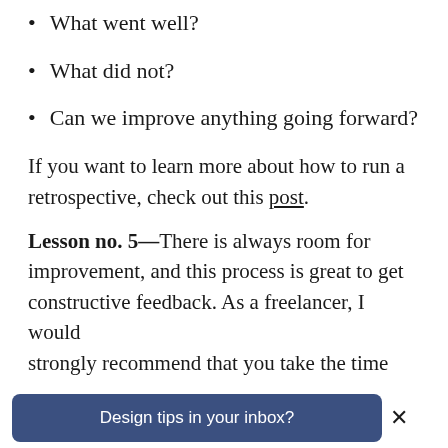What went well?
What did not?
Can we improve anything going forward?
If you want to learn more about how to run a retrospective, check out this post.
Lesson no. 5—There is always room for improvement, and this process is great to get constructive feedback. As a freelancer, I would strongly recommend that you take the time
Design tips in your inbox?